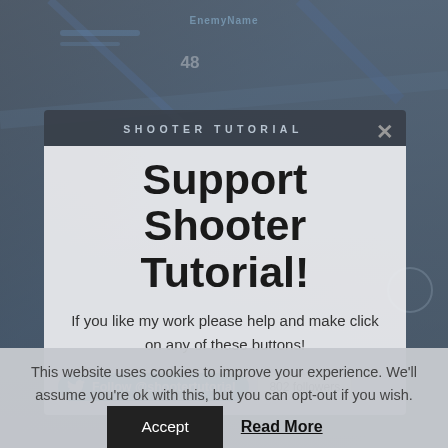[Figure (screenshot): Game background screenshot showing a dark sci-fi shooter game HUD with blue tones, player number 48 visible, EnemyName label at top center]
SHOOTER TUTORIAL
Support Shooter Tutorial!
If you like my work please help and make click on any of these buttons!
Follow @shootertorial  802 followers
This website uses cookies to improve your experience. We'll assume you're ok with this, but you can opt-out if you wish.
Accept   Read More